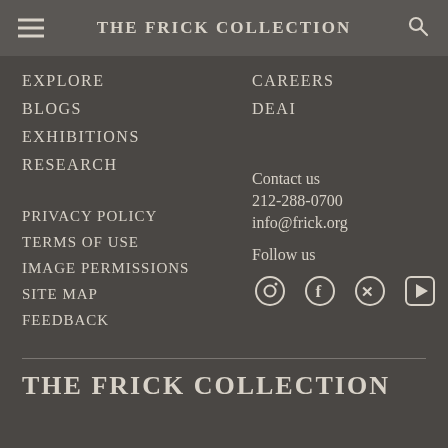THE FRICK COLLECTION
EXPLORE
BLOGS
EXHIBITIONS
RESEARCH
CAREERS
DEAI
PRIVACY POLICY
TERMS OF USE
IMAGE PERMISSIONS
SITE MAP
FEEDBACK
Contact us
212-288-0700
info@frick.org
Follow us
[Figure (illustration): Social media icons: Instagram, Facebook, Twitter, YouTube, Google]
THE FRICK COLLECTION